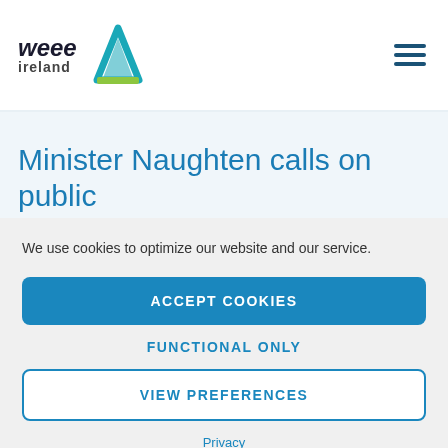[Figure (logo): WEEE Ireland logo with triangle/recycling icon in teal and green]
Minister Naughten calls on public to recycle batteries on European
We use cookies to optimize our website and our service.
ACCEPT COOKIES
FUNCTIONAL ONLY
VIEW PREFERENCES
Privacy